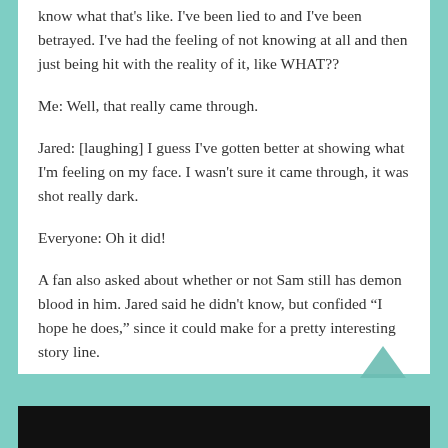know what that's like. I've been lied to and I've been betrayed. I've had the feeling of not knowing at all and then just being hit with the reality of it, like WHAT??
Me: Well, that really came through.
Jared: [laughing] I guess I've gotten better at showing what I'm feeling on my face. I wasn't sure it came through, it was shot really dark.
Everyone: Oh it did!
A fan also asked about whether or not Sam still has demon blood in him. Jared said he didn't know, but confided “I hope he does,” since it could make for a pretty interesting story line.
[Figure (photo): Black bar/image at the bottom of the page]